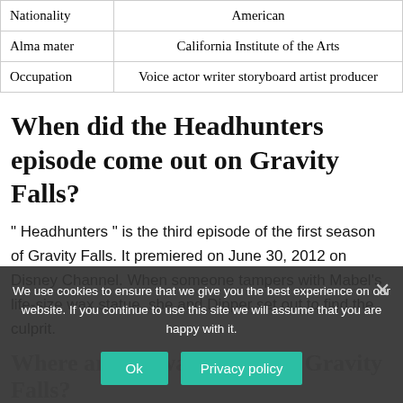| Nationality | American |
| Alma mater | California Institute of the Arts |
| Occupation | Voice actor writer storyboard artist producer |
When did the Headhunters episode come out on Gravity Falls?
" Headhunters " is the third episode of the first season of Gravity Falls. It premiered on June 30, 2012 on Disney Channel. When someone tampers with Mabel's life-size wax statue, she and Dipper set out to find the culprit.
Where are the wax figures in Gravity Falls?
[Cookie overlay] We use cookies to ensure that we give you the best experience on our website. If you continue to use this site we will assume that you are happy with it.